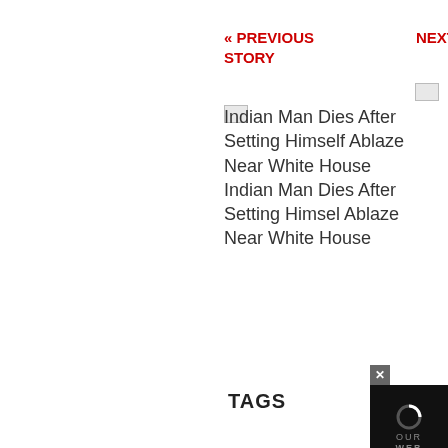« PREVIOUS STORY
[Figure (photo): Thumbnail image placeholder for Indian Man Dies After Setting Himself Ablaze Near White House article]
Indian Man Dies After Setting Himself Ablaze Near White House
NEXT STORY :
[Figure (photo): Thumbnail image placeholder for After Jaganmohan Reddy Takes Charge As Andhra Pradesh CM, State To Police Shunted Out article]
After Jaganmohan Reddy Takes Charge As Andhra Pradesh CM State To Police Shunted Out After Jaganmohan Reddy Takes Charge As Andhra Pradesh CM State To Police Shunted Out
TAGS
[Figure (screenshot): Video overlay with close button and loading spinner, OUR WEB BUREAU text below]